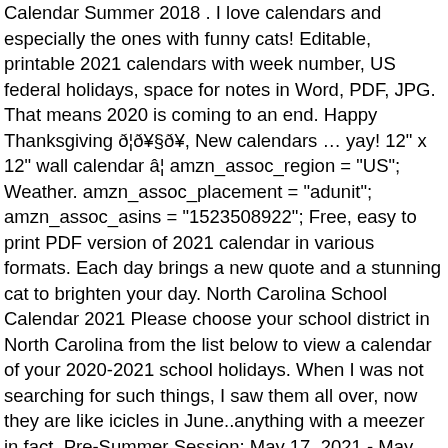Calendar Summer 2018 . I love calendars and especially the ones with funny cats! Editable, printable 2021 calendars with week number, US federal holidays, space for notes in Word, PDF, JPG. That means 2020 is coming to an end. Happy Thanksgiving ð¦ð¥§ð¥, New calendars … yay! 12" x 12" wall calendar â¦ amzn_assoc_region = "US"; Weather. amzn_assoc_placement = "adunit"; amzn_assoc_asins = "1523508922"; Free, easy to print PDF version of 2021 calendar in various formats. Each day brings a new quote and a stunning cat to brighten your day. North Carolina School Calendar 2021 Please choose your school district in North Carolina from the list below to view a calendar of your 2020-2021 school holidays. When I was not searching for such things, I saw them all over, now they are like icicles in June..anything with a meezer in fact. Pre-Summer Session: May 17, 2021 - May 28, 2021. Dual Session: May 17, 2021 - July 30, 2021. First Session: May 17, 2021 - June 22, 2021. Intersession: June 24, 2021 - July 8, 2021. Second Session June 24, 2021 - July 30, 2021. Aviation maintenance management February 9, 2021. Cat Wisdom 101: Everything Feline since 2011. Sheesh! Below you can find dates